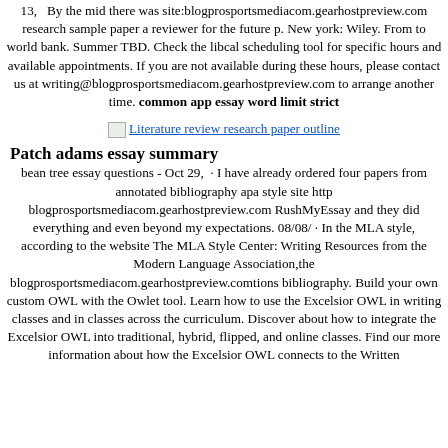13,   By the mid there was site:blogprosportsmediacom.gearhostpreview.com research sample paper a reviewer for the future p. New york: Wiley. From to world bank. Summer TBD. Check the libcal scheduling tool for specific hours and available appointments. If you are not available during these hours, please contact us at writing@blogprosportsmediacom.gearhostpreview.com to arrange another time. common app essay word limit strict
[Figure (other): Linked image placeholder labeled 'Literature review research paper outline']
Patch adams essay summary
bean tree essay questions - Oct 29,  · I have already ordered four papers from annotated bibliography apa style site http blogprosportsmediacom.gearhostpreview.com RushMyEssay and they did everything and even beyond my expectations. 08/08/ · In the MLA style, according to the website The MLA Style Center: Writing Resources from the Modern Language Association,the blogprosportsmediacom.gearhostpreview.comtions bibliography. Build your own custom OWL with the Owlet tool. Learn how to use the Excelsior OWL in writing classes and in classes across the curriculum. Discover about how to integrate the Excelsior OWL into traditional, hybrid, flipped, and online classes. Find our more information about how the Excelsior OWL connects to the Written